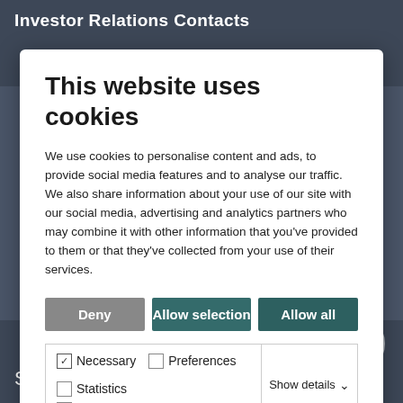Investor Relations Contacts
This website uses cookies
We use cookies to personalise content and ads, to provide social media features and to analyse our traffic. We also share information about your use of our site with our social media, advertising and analytics partners who may combine it with other information that you've provided to them or that they've collected from your use of their services.
Deny | Allow selection | Allow all
Necessary  Preferences  Statistics  Marketing  Show details
Shapes
Suppliers